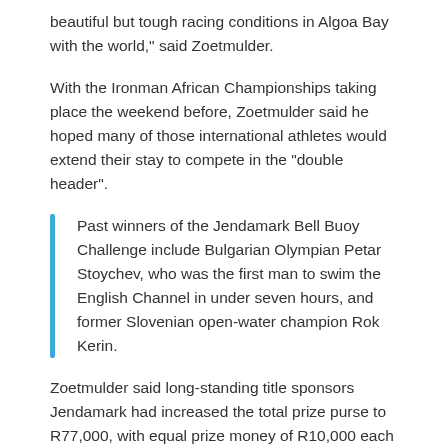beautiful but tough racing conditions in Algoa Bay with the world," said Zoetmulder.
With the Ironman African Championships taking place the weekend before, Zoetmulder said he hoped many of those international athletes would extend their stay to compete in the "double header".
Past winners of the Jendamark Bell Buoy Challenge include Bulgarian Olympian Petar Stoychev, who was the first man to swim the English Channel in under seven hours, and former Slovenian open-water champion Rok Kerin.
Zoetmulder said long-standing title sponsors Jendamark had increased the total prize purse to R77,000, with equal prize money of R10,000 each for the male and female winner.